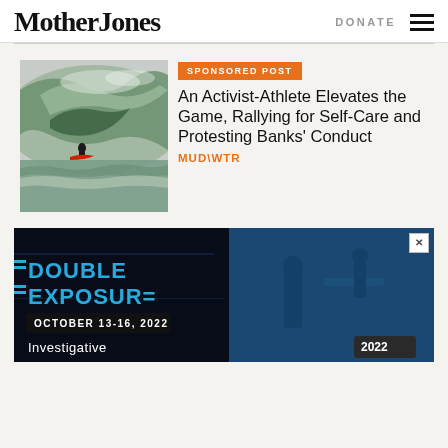Mother Jones
DONATE
SPONSORED POST
An Activist-Athlete Elevates the Game, Rallying for Self-Care and Protesting Banks' Conduct
MUD\WTR
[Figure (photo): Surfer riding a large wave]
[Figure (photo): Double Exposure event advertisement banner. Text reads: DOUBLE EXPOSURE, OCTOBER 13-16, 2022, Investigative, 2022. Blue toned image with filmmakers.]